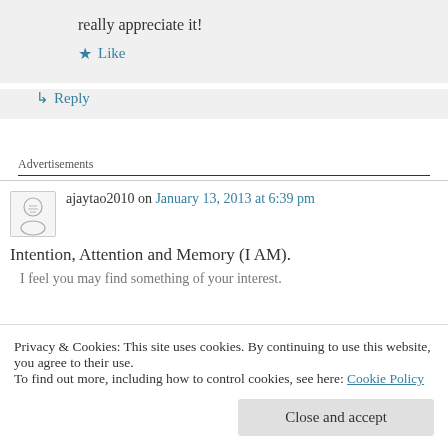really appreciate it!
★ Like
↳ Reply
Advertisements
ajaytao2010 on January 13, 2013 at 6:39 pm
Intention, Attention and Memory (I AM).
Privacy & Cookies: This site uses cookies. By continuing to use this website, you agree to their use.
To find out more, including how to control cookies, see here: Cookie Policy
Close and accept
I feel you may find something of your interest.